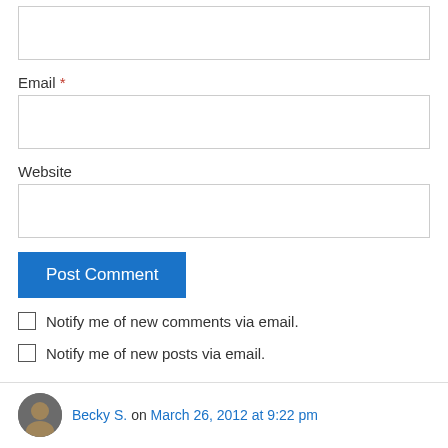[Figure (screenshot): Empty text input box at the top of the page (Name field, partially cropped)]
Email *
[Figure (screenshot): Email input box]
Website
[Figure (screenshot): Website input box]
[Figure (screenshot): Post Comment button (blue)]
Notify me of new comments via email.
Notify me of new posts via email.
Becky S. on March 26, 2012 at 9:22 pm